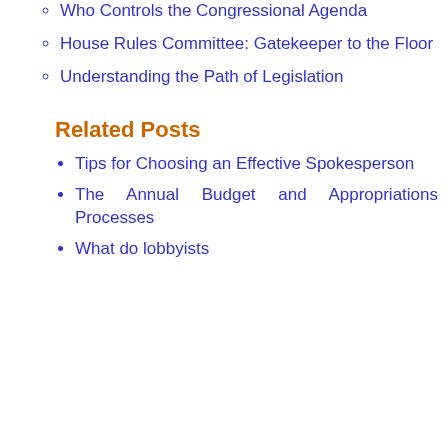Who Controls the Congressional Agenda
House Rules Committee: Gatekeeper to the Floor
Understanding the Path of Legislation
Related Posts
Tips for Choosing an Effective Spokesperson
The Annual Budget and Appropriations Processes
What do lobbyists